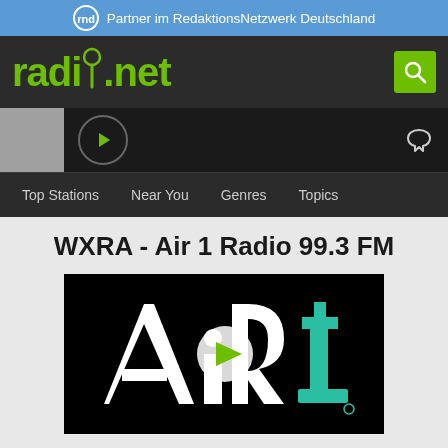Partner im RedaktionsNetzwerk Deutschland
[Figure (logo): radio.net logo with green text and search button on dark background]
[Figure (screenshot): Radio player bar with gray thumbnail, play button, and heart icon]
Top Stations   Near You   Genres   Topics
WXRA - Air 1 Radio 99.3 FM
[Figure (logo): Air 1 Radio logo on black background with white AIR letters, teal 1, and green play button overlay]